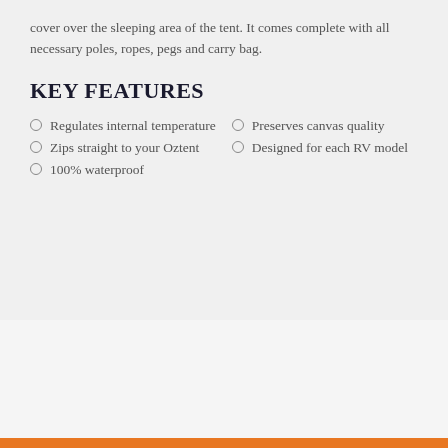cover over the sleeping area of the tent. It comes complete with all necessary poles, ropes, pegs and carry bag.
KEY FEATURES
Regulates internal temperature
Preserves canvas quality
Zips straight to your Oztent
Designed for each RV model
100% waterproof